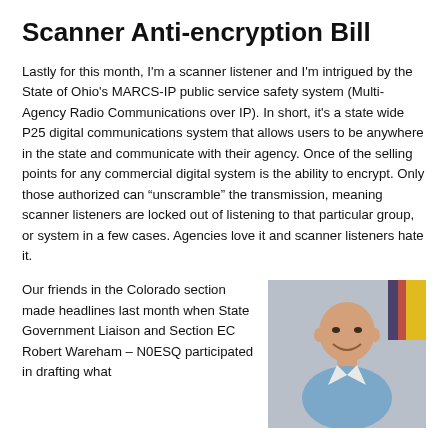Scanner Anti-encryption Bill
Lastly for this month, I'm a scanner listener and I'm intrigued by the State of Ohio's MARCS-IP public service safety system (Multi-Agency Radio Communications over IP). In short, it's a state wide P25 digital communications system that allows users to be anywhere in the state and communicate with their agency. Once of the selling points for any commercial digital system is the ability to encrypt. Only those authorized can “unscramble” the transmission, meaning scanner listeners are locked out of listening to that particular group, or system in a few cases. Agencies love it and scanner listeners hate it.
Our friends in the Colorado section made headlines last month when State Government Liaison and Section EC Robert Wareham – N0ESQ participated in drafting what
[Figure (photo): Portrait photo of a bald smiling man in a light blue shirt, with flags in the background]